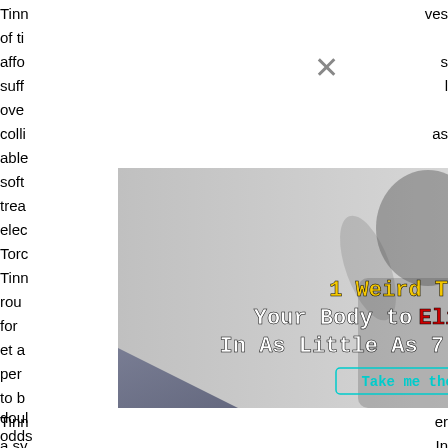Tinn... ves of ti... affo... s suff... l ove... colli... as able... soft trea... elec... Torc... ty. Tinn... d rou... me for... od et a... f per... g to b... doul... odds... Tinn... er a sy... In mos... the bra... e tinn... e are...
[Figure (infographic): Advertisement popup with a close X button. Shows a woman holding her head with hands pressed against ears (tinnitus image). Text overlay reads: '1 Weird Trick That Forces Your Body to Eliminate Tinnitus In As Little As 7 Days - Guaranteed!' with a 'Take me there' button.]